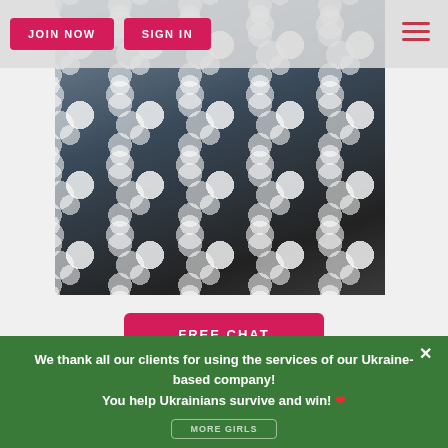JOIN NOW | SIGN IN
[Figure (photo): Profile photo of Helen_Queen wearing a black and white polka dot outfit, partially cropped, showing torso and arms.]
FREE CHAT
Helen_Queen
Age: 50 ID 9839467
We thank all our clients for using the services of our Ukraine-based company!
You help Ukrainians survive and win! ❤